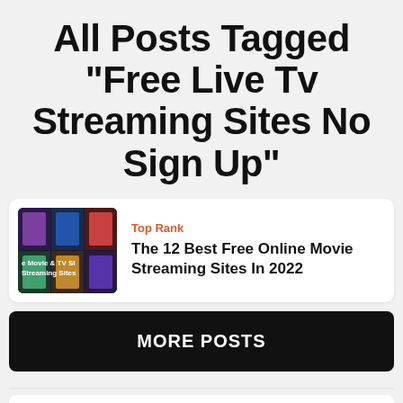All Posts Tagged "Free Live Tv Streaming Sites No Sign Up"
[Figure (screenshot): Thumbnail image showing movie and TV streaming sites collage with colorful movie posters and text 'e Movie & TV Sl Streaming Sites']
Top Rank
The 12 Best Free Online Movie Streaming Sites In 2022
MORE POSTS
Search